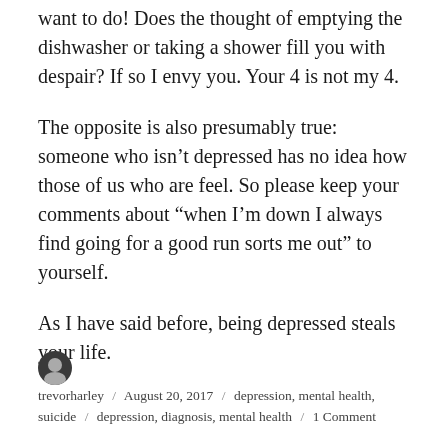want to do! Does the thought of emptying the dishwasher or taking a shower fill you with despair? If so I envy you. Your 4 is not my 4.
The opposite is also presumably true: someone who isn’t depressed has no idea how those of us who are feel. So please keep your comments about “when I’m down I always find going for a good run sorts me out” to yourself.
As I have said before, being depressed steals your life.
trevorharley / August 20, 2017 / depression, mental health, suicide / depression, diagnosis, mental health / 1 Comment